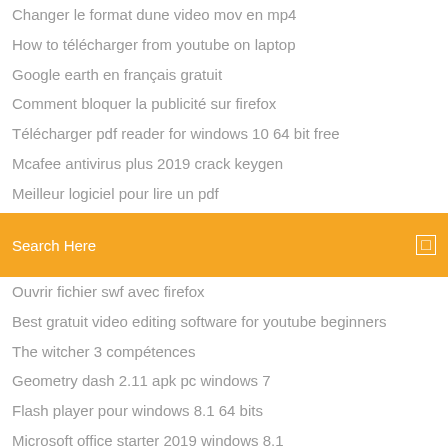Changer le format dune video mov en mp4
How to télécharger from youtube on laptop
Google earth en français gratuit
Comment bloquer la publicité sur firefox
Télécharger pdf reader for windows 10 64 bit free
Mcafee antivirus plus 2019 crack keygen
Meilleur logiciel pour lire un pdf
[Figure (screenshot): Search bar with orange background and text 'Search Here']
Ouvrir fichier swf avec firefox
Best gratuit video editing software for youtube beginners
The witcher 3 compétences
Geometry dash 2.11 apk pc windows 7
Flash player pour windows 8.1 64 bits
Microsoft office starter 2019 windows 8.1
Skin pack windows 7 64 bit gratuit télécharger
Telecharger lego ninjago jeux pc gratuit
Visual basic 2019 express tutorial pdf